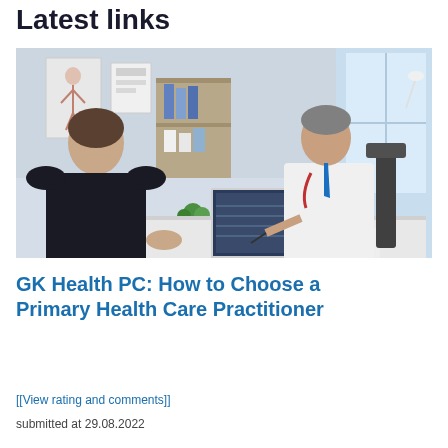Latest links
[Figure (photo): A patient sits across a desk from a doctor in a white coat with a stethoscope and blue tie. The doctor holds a pen and looks at a laptop screen on the desk. Medical posters are visible on the wall behind the patient. A small plant sits on the desk.]
GK Health PC: How to Choose a Primary Health Care Practitioner
[[View rating and comments]]
submitted at 29.08.2022